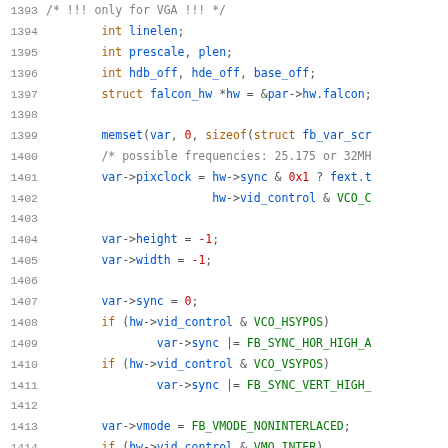Source code listing, lines 1393-1414, C programming language with syntax highlighting